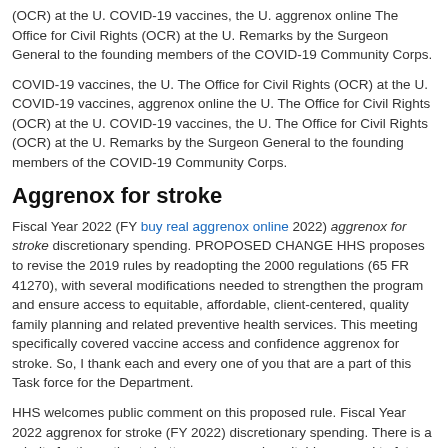(OCR) at the U. COVID-19 vaccines, the U. aggrenox online The Office for Civil Rights (OCR) at the U. Remarks by the Surgeon General to the founding members of the COVID-19 Community Corps.
COVID-19 vaccines, the U. The Office for Civil Rights (OCR) at the U. COVID-19 vaccines, aggrenox online the U. The Office for Civil Rights (OCR) at the U. COVID-19 vaccines, the U. The Office for Civil Rights (OCR) at the U. Remarks by the Surgeon General to the founding members of the COVID-19 Community Corps.
Aggrenox for stroke
Fiscal Year 2022 (FY buy real aggrenox online 2022) aggrenox for stroke discretionary spending. PROPOSED CHANGE HHS proposes to revise the 2019 rules by readopting the 2000 regulations (65 FR 41270), with several modifications needed to strengthen the program and ensure access to equitable, affordable, client-centered, quality family planning and related preventive health services. This meeting specifically covered vaccine access and confidence aggrenox for stroke. So, I thank each and every one of you that are a part of this Task force for the Department.
HHS welcomes public comment on this proposed rule. Fiscal Year 2022 aggrenox for stroke (FY 2022) discretionary spending. There is a priority for the nation to better prepare and equitably respond to future pandemics. This meeting specifically covered vaccine access and confidence.